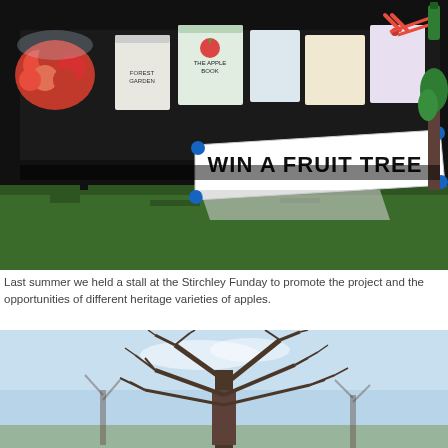[Figure (photo): A market stall with a black tablecloth covered with books, apples, and gardening items. A white banner reads 'WIN A FRUIT TREE'. Green grass is visible in the background.]
Last summer we held a stall at the Stirchley Funday to promote the project and the opportunities of different heritage varieties of apples.
[Figure (photo): A bare winter tree with branches against a light blue sky.]